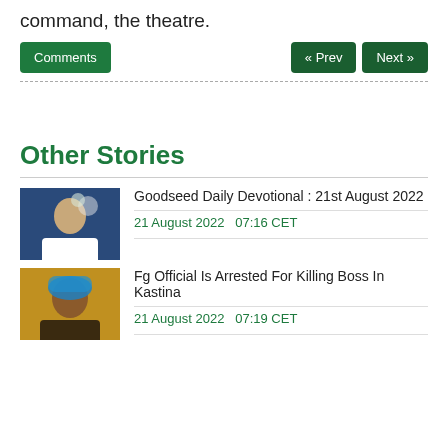command, the theatre.
Comments | « Prev | Next »
Other Stories
Goodseed Daily Devotional : 21st August 2022
21 August 2022   07:16 CET
Fg Official Is Arrested For Killing Boss In Kastina
21 August 2022   07:19 CET